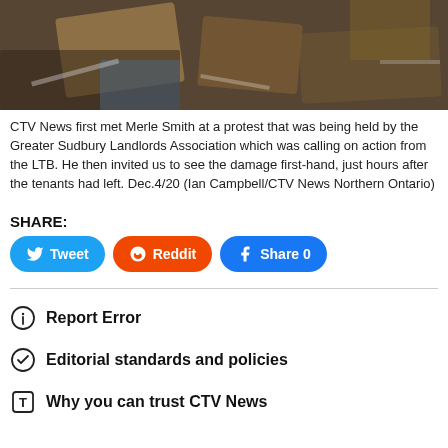[Figure (photo): Cluttered room with scattered cardboard boxes, papers, and various items piled up — interior damage photo]
CTV News first met Merle Smith at a protest that was being held by the Greater Sudbury Landlords Association which was calling on action from the LTB. He then invited us to see the damage first-hand, just hours after the tenants had left. Dec.4/20 (Ian Campbell/CTV News Northern Ontario)
SHARE:
Tweet   Reddit   Share 0
Report Error
Editorial standards and policies
Why you can trust CTV News